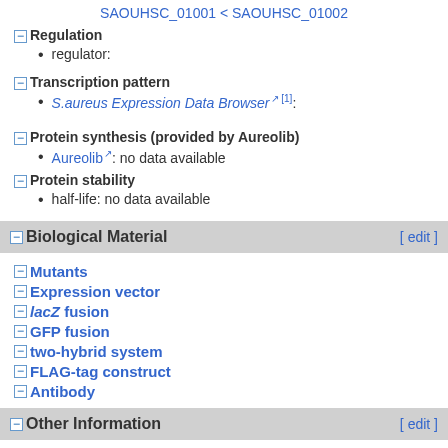SAOUHSC_01001 < SAOUHSC_01002
Regulation
regulator:
Transcription pattern
S.aureus Expression Data Browser [1]:
Protein synthesis (provided by Aureolib)
Aureolib: no data available
Protein stability
half-life: no data available
Biological Material [ edit ]
Mutants
Expression vector
/acZ fusion
GFP fusion
two-hybrid system
FLAG-tag construct
Antibody
Other Information [ edit ]